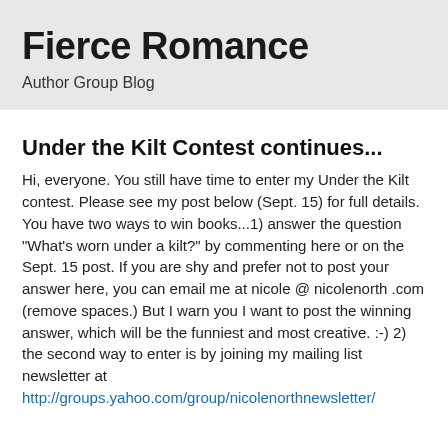Fierce Romance
Author Group Blog
Under the Kilt Contest continues...
Hi, everyone. You still have time to enter my Under the Kilt contest. Please see my post below (Sept. 15) for full details. You have two ways to win books...1) answer the question "What's worn under a kilt?" by commenting here or on the Sept. 15 post. If you are shy and prefer not to post your answer here, you can email me at nicole @ nicolenorth .com (remove spaces.) But I warn you I want to post the winning answer, which will be the funniest and most creative. :-) 2) the second way to enter is by joining my mailing list newsletter at http://groups.yahoo.com/group/nicolenorthnewsletter/